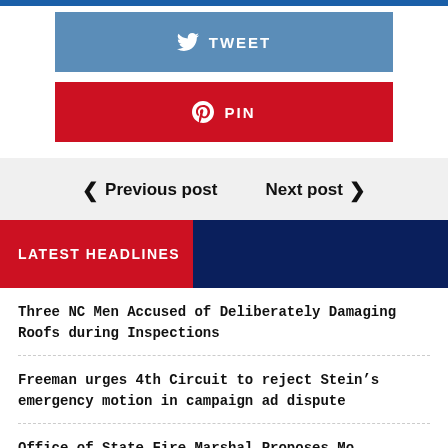[Figure (screenshot): Tweet button - blue social share button with Twitter bird icon and text TWEET]
[Figure (screenshot): Pin button - red social share button with Pinterest icon and text PIN]
< Previous post   Next post >
LATEST HEADLINES
Three NC Men Accused of Deliberately Damaging Roofs during Inspections
Freeman urges 4th Circuit to reject Stein's emergency motion in campaign ad dispute
Office of State Fire Marshal Proposes...